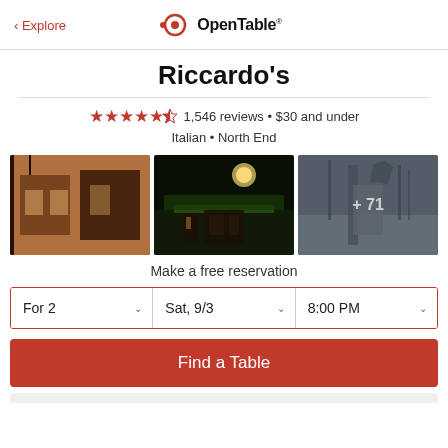< Explore | OpenTable
Riccardo's
4.5 stars · 1,546 reviews · $30 and under · Italian · North End
[Figure (photo): Three restaurant photos: daytime exterior brick building, nighttime exterior with green awning, park statue with +71 overlay]
Make a free reservation
For 2 | Sat, 9/3 | 8:00 PM
Find a Table